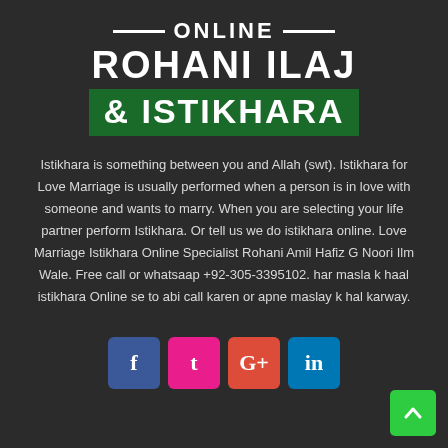ONLINE ROHANI ILAJ & ISTIKHARA
Istikhara is something between you and Allah (swt). Istikhara for Love Marriage is usually performed when a person is in love with someone and wants to marry. When you are selecting your life partner perform Istikhara. Or tell us we do istikhara online. Love Marriage Istikhara Online Specialist Rohani Amil Hafiz G Noori Ilm Wale. Free call or whatsaap +92-305-3395102. har masla k haal istikhara Online se to abi call karen or apne maslay k hal karway.
[Figure (infographic): Social media icons: Facebook (blue), Tumblr (pink), Google+ (red), LinkedIn (blue)]